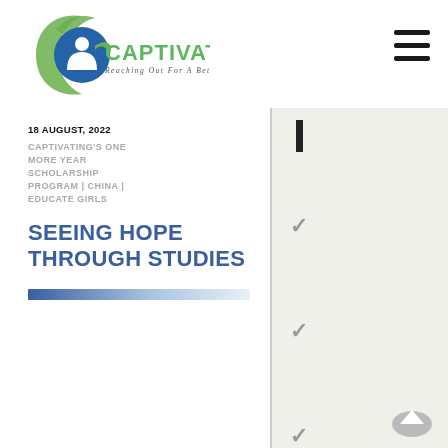[Figure (logo): Captivating logo: blue and green circular figure with text 'CAPTIVATING' in green and subtitle 'Reaching Out For A Better Tomorrow']
[Figure (illustration): Hamburger menu icon (three horizontal lines) in top right corner]
18 AUGUST, 2022
CAPTIVATING'S ONE MORE YEAR SCHOLARSHIP PROGRAM | CHINA | EDUCATE GIRLS
SEEING HOPE THROUGH STUDIES
[Figure (illustration): Blue to white gradient horizontal bar/divider]
[Figure (illustration): Right column with light beige background, vertical black bar at top, and three grey checkmark icons stacked vertically]
[Figure (illustration): Scroll-up arrow button in bottom right corner of right column]